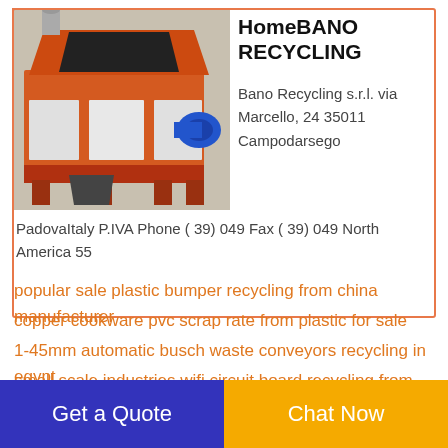[Figure (photo): Industrial recycling shredder machine with orange metal frame and blue motor]
HomeBano RECYCLING
Bano Recycling s.r.l. via Marcello, 24 35011 Campodarsego
PadovaItaly P.IVA Phone ( 39) 049 Fax ( 39) 049 North America 55
popular sale plastic bumper recycling from china manufacturer
copper cookware pvc scrap rate from plastic for sale
1-45mm automatic busch waste conveyors recycling in egypt
small scale industries wifi circuit board recycling from chinese supplier
environmental protection of copper granulator machine for
Get a Quote
Chat Now